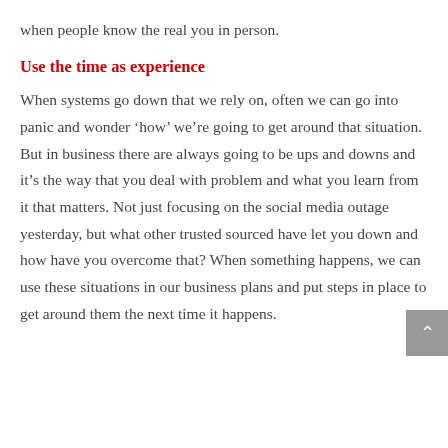when people know the real you in person.
Use the time as experience
When systems go down that we rely on, often we can go into panic and wonder ‘how’ we’re going to get around that situation. But in business there are always going to be ups and downs and it’s the way that you deal with problem and what you learn from it that matters. Not just focusing on the social media outage yesterday, but what other trusted sourced have let you down and how have you overcome that? When something happens, we can use these situations in our business plans and put steps in place to get around them the next time it happens.